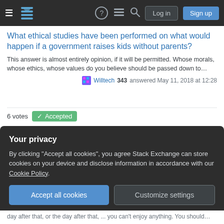Stack Exchange navigation bar with hamburger menu, logo, help, chat, search icons, Log in and Sign up buttons
What ethical studies have been performed on what would happen if a government raises kids without parents?
This answer is almost entirely opinion, if it will be permitted. Whose morals, whose ethics, whose values do you believe should be passed down to…
Willtech 343 answered May 11, 2018 at 12:28
6 votes Accepted
Possible reason for the exponential development of Mathematics
It's an interesting question. Others will be better able to answer, but I would note that the proper evolutionary model here may be punctuated equilibrium…
Your privacy
By clicking "Accept all cookies", you agree Stack Exchange can store cookies on your device and disclose information in accordance with our Cookie Policy.
Accept all cookies    Customize settings
day after that, or the day after that, ... you can't enjoy anything. You should…